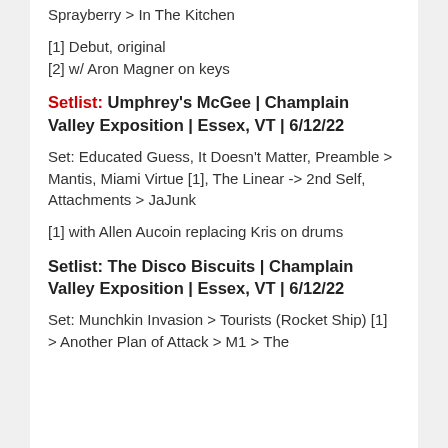Sprayberry > In The Kitchen
[1] Debut, original
[2] w/ Aron Magner on keys
Setlist: Umphrey's McGee | Champlain Valley Exposition | Essex, VT | 6/12/22
Set: Educated Guess, It Doesn't Matter, Preamble > Mantis, Miami Virtue [1], The Linear -> 2nd Self, Attachments > JaJunk
[1] with Allen Aucoin replacing Kris on drums
Setlist: The Disco Biscuits | Champlain Valley Exposition | Essex, VT | 6/12/22
Set: Munchkin Invasion > Tourists (Rocket Ship) [1] > Another Plan of Attack > M1 > The